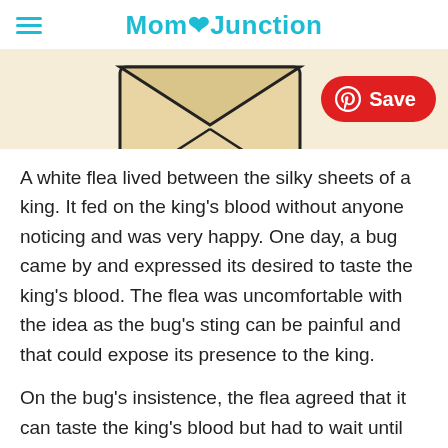MomJunction
[Figure (illustration): Partial illustration of a cartoon figure or envelope on a beige background, with a red Pinterest Save button overlay]
A white flea lived between the silky sheets of a king. It fed on the king's blood without anyone noticing and was very happy. One day, a bug came by and expressed its desired to taste the king's blood. The flea was uncomfortable with the idea as the bug's sting can be painful and that could expose its presence to the king.
On the bug's insistence, the flea agreed that it can taste the king's blood but had to wait until after he went to sleep. The bug agreed but couldn't control itself. It bit the king as soon as he sat on the bed.